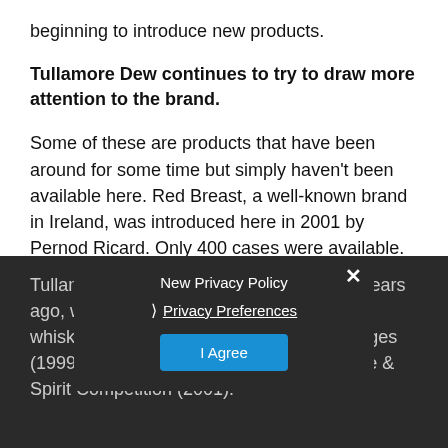beginning to introduce new products.
Tullamore Dew continues to try to draw more attention to the brand.
Some of these are products that have been around for some time but simply haven't been available here. Red Breast, a well-known brand in Ireland, was introduced here in 2001 by Pernod Ricard. Only 400 cases were available. This past year, volume was double that, and is expected to rise again this year.
Tullamore Dew launched a product a few years ago, which has won awards for best Irish whiskey in the International Spirits Challenges (1999 and 2000) and the International Wine & Spirit Competition (2001).